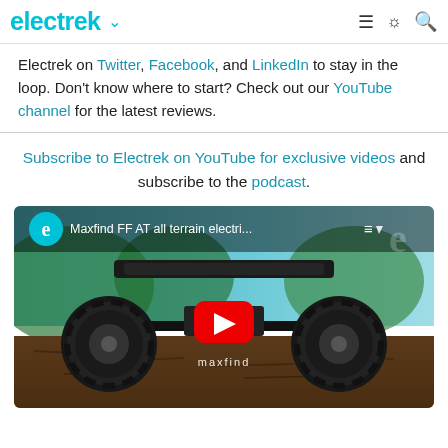electrek
Electrek on Twitter, Facebook, and LinkedIn to stay in the loop. Don't know where to start? Check out our YouTube channel for the latest reviews.
Subscribe to Electrek on YouTube for exclusive videos and subscribe to the podcast.
[Figure (screenshot): YouTube video thumbnail for 'Maxfind FF AT all terrain electri...' showing an all-terrain electric skateboard with large knobby wheels, a red YouTube play button in the center, Electrek logo in the top-left corner, and 'maxfind' branding on the board.]